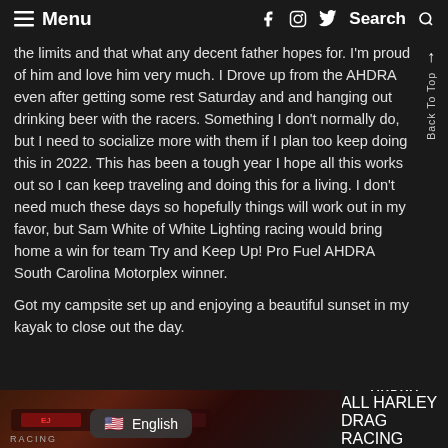Menu | f | Instagram | Twitter | Search
the limits and that what any decent father hopes for. I'm proud of him and love him very much. I Drove up from the AHDRA even after getting some rest Saturday and and hanging out drinking beer with the racers. Something I don't normally do, but I need to socialize more with them if I plan too keep doing this in 2022. This has been a tough year I hope all this works out so I can keep traveling and doing this for a living. I don't need much these days so hopefully things will work out in my favor, but Sam White of White Lighting racing would bring home a win for team Try and Keep Up! Pro Fuel AHDRA South Carolina Motorplex winner.
Got my campsite set up and enjoying a beautiful sunset in my kayak to close out the day.
[Figure (photo): Bottom strip showing racing car photos and AHDRA (All Harley Drag Racing Association) logo with English language selector button overlay]